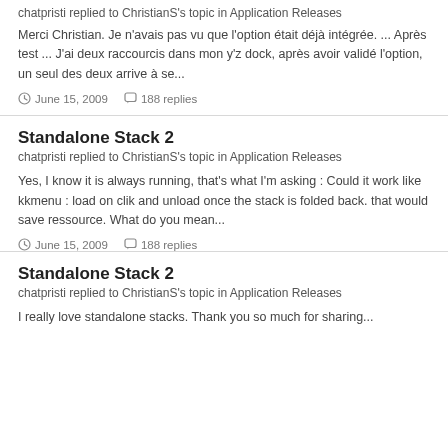chatpristi replied to ChristianS's topic in Application Releases
Merci Christian. Je n'avais pas vu que l'option était déjà intégrée. ... Après test ... J'ai deux raccourcis dans mon y'z dock, après avoir validé l'option, un seul des deux arrive à se...
June 15, 2009   188 replies
Standalone Stack 2
chatpristi replied to ChristianS's topic in Application Releases
Yes, I know it is always running, that's what I'm asking : Could it work like kkmenu : load on clik and unload once the stack is folded back. that would save ressource. What do you mean...
June 15, 2009   188 replies
Standalone Stack 2
chatpristi replied to ChristianS's topic in Application Releases
I really love standalone stacks. Thank you so much for sharing...